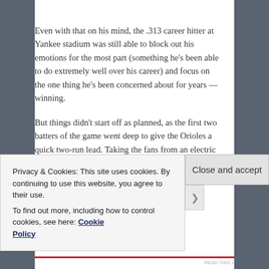Even with that on his mind, the .313 career hitter at Yankee stadium was still able to block out his emotions for the most part (something he's been able to do extremely well over his career) and focus on the one thing he's been concerned about for years — winning.
But things didn't start off as planned, as the first two batters of the game went deep to give the Orioles a quick two-run lead. Taking the fans from an electric crowd to a somewhat stunned crowd, you still figured this was for
Privacy & Cookies: This site uses cookies. By continuing to use this website, you agree to their use.
To find out more, including how to control cookies, see here: Cookie Policy
Close and accept